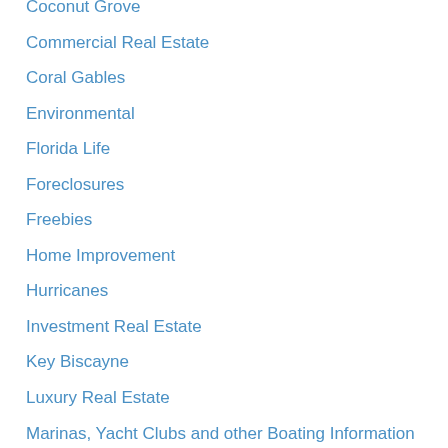Coconut Grove
Commercial Real Estate
Coral Gables
Environmental
Florida Life
Foreclosures
Freebies
Home Improvement
Hurricanes
Investment Real Estate
Key Biscayne
Luxury Real Estate
Marinas, Yacht Clubs and other Boating Information
Market Summary
Miami Beach
Miami Design District